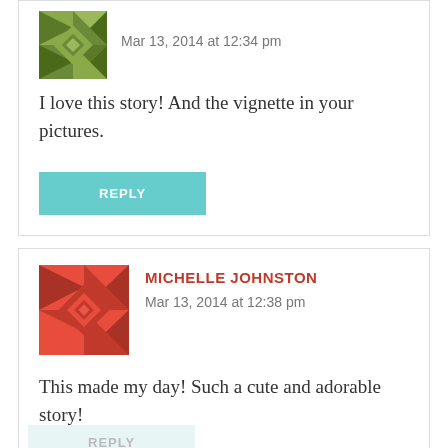[Figure (illustration): Green geometric/quilt pattern avatar icon]
Mar 13, 2014 at 12:34 pm
I love this story! And the vignette in your pictures.
REPLY
MICHELLE JOHNSTON
[Figure (illustration): Red geometric/quilt pattern avatar icon]
Mar 13, 2014 at 12:38 pm
This made my day! Such a cute and adorable story!
REPLY